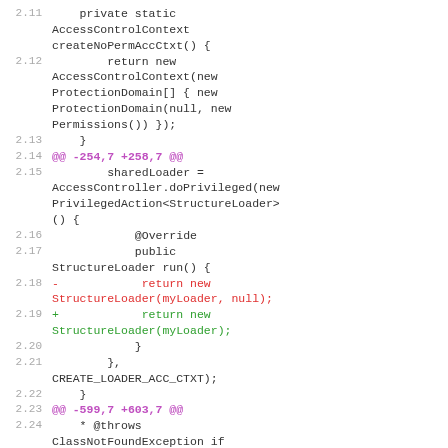2.11    private static AccessControlContext createNoPermAccCtxt() {
2.12            return new AccessControlContext(new ProtectionDomain[] { new ProtectionDomain(null, new Permissions()) });
2.13        }
2.14    @@ -254,7 +258,7 @@
2.15            sharedLoader = AccessController.doPrivileged(new PrivilegedAction<StructureLoader>() {
2.16                @Override
2.17                public StructureLoader run() {
2.18    -                return new StructureLoader(myLoader, null);
2.19    +                return new StructureLoader(myLoader);
2.20                }
2.21            }, CREATE_LOADER_ACC_CTXT);
2.22        }
2.23    @@ -599,7 +603,7 @@
2.24        * @throws ClassNotFoundException if structure class cannot be resolved
2.25        */